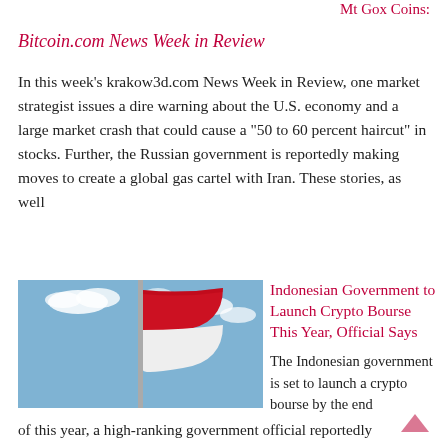Mt Gox Coins:
Bitcoin.com News Week in Review
In this week’s krakow3d.com News Week in Review, one market strategist issues a dire warning about the U.S. economy and a large market crash that could cause a “50 to 60 percent haircut” in stocks. Further, the Russian government is reportedly making moves to create a global gas cartel with Iran. These stories, as well
[Figure (photo): Indonesian flag waving on a pole against a blue sky with clouds]
Indonesian Government to Launch Crypto Bourse This Year, Official Says
The Indonesian government is set to launch a crypto bourse by the end of this year, a high-ranking government official reportedly revealed. “We will make sure that every requirement, procedure, and the necessary steps have been taken,” he emphasized. Crypto Bourse Coming Soon in Indonesia The Indonesian government is planning to launch a crypto